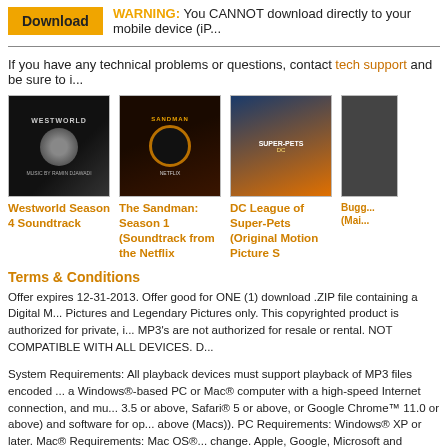Download   WARNING: You CANNOT download directly to your mobile device (iP...
If you have any technical problems or questions, contact tech support and be sure to i...
[Figure (photo): Westworld Season 4 Soundtrack album cover]
Westworld Season 4 Soundtrack
[Figure (photo): The Sandman: Season 1 (Soundtrack from the Netflix) album cover]
The Sandman: Season 1 (Soundtrack from the Netflix)
[Figure (photo): DC League of Super-Pets (Original Motion Picture S) album cover]
DC League of Super-Pets (Original Motion Picture S
[Figure (photo): Bugg... (Mai...) album cover - partially visible]
Bugg... (Mai...
Terms & Conditions
Offer expires 12-31-2013. Offer good for ONE (1) download .ZIP file containing a Digital M... Pictures and Legendary Pictures only. This copyrighted product is authorized for private, i... MP3's are not authorized for resale or rental. NOT COMPATIBLE WITH ALL DEVICES. D...
System Requirements: All playback devices must support playback of MP3 files encoded ... a Windows®-based PC or Mac® computer with a high-speed Internet connection, and mu... 3.5 or above, Safari® 5 or above, or Google Chrome™ 11.0 or above) and software for op... above (Macs)). PC Requirements: Windows® XP or later. Mac® Requirements: Mac OS®... change. Apple, Google, Microsoft and Mozilla's respective software each has additional sy...
Windows®, Windows Vista® and Internet Explorer® are either registered trademarks or tr... Mac® and Safari® are trademarks of Apple Inc., registered in the United States and other... is a registered trademark of WinZip International LLC. Chrome™ is a trademark of Google...